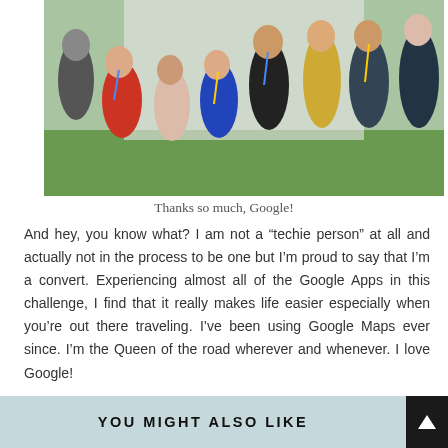[Figure (photo): Group photo of people posing outdoors on grass, several wearing Google-branded lanyards and shirts, in front of a white backdrop.]
Thanks so much, Google!
And hey, you know what? I am not a "techie person" at all and actually not in the process to be one but I'm proud to say that I'm a convert. Experiencing almost all of the Google Apps in this challenge, I find that it really makes life easier especially when you're out there traveling. I've been using Google Maps ever since. I'm the Queen of the road wherever and whenever. I love Google!
YOU MIGHT ALSO LIKE